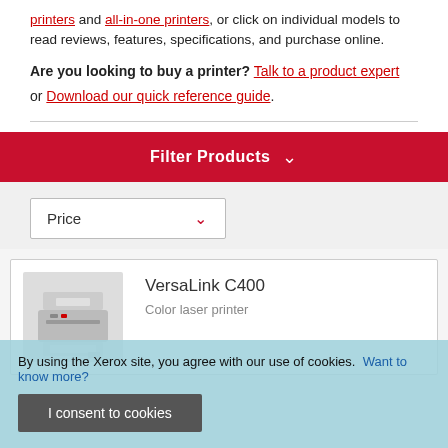printers and all-in-one printers, or click on individual models to read reviews, features, specifications, and purchase online.
Are you looking to buy a printer? Talk to a product expert or Download our quick reference guide.
Filter Products
Price
VersaLink C400
Color laser printer
By using the Xerox site, you agree with our use of cookies. Want to know more?
I consent to cookies